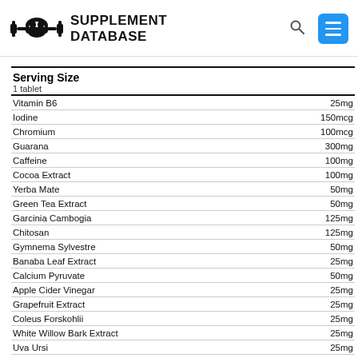[Figure (logo): Supplement Database logo with dumbbell/muscle icon and bold text 'SUPPLEMENT DATABASE']
| Ingredient | Amount |
| --- | --- |
| Vitamin B6 | 25mg |
| Iodine | 150mcg |
| Chromium | 100mcg |
| Guarana | 300mg |
| Caffeine | 100mg |
| Cocoa Extract | 100mg |
| Yerba Mate | 50mg |
| Green Tea Extract | 50mg |
| Garcinia Cambogia | 125mg |
| Chitosan | 125mg |
| Gymnema Sylvestre | 50mg |
| Banaba Leaf Extract | 25mg |
| Calcium Pyruvate | 50mg |
| Apple Cider Vinegar | 25mg |
| Grapefruit Extract | 25mg |
| Coleus Forskohlii | 25mg |
| White Willow Bark Extract | 25mg |
| Uva Ursi | 25mg |
| Juniper Berry | 25mg |
| Buchu Leaf Extract | 25mg |
| Cayenne Pepper | 10mg |
Product Facts
Effectiveness Rating: 1.75 out of 3 (moderately effective)